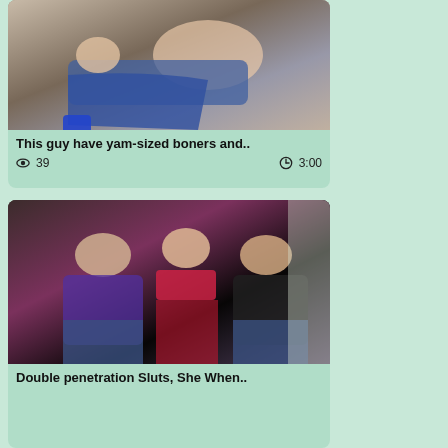[Figure (photo): Thumbnail image of a man and woman on a bed]
This guy have yam-sized boners and..
👁 39   🕐 3:00
[Figure (photo): Thumbnail image of three people together]
Double penetration Sluts, She When..